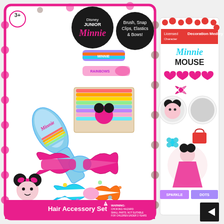[Figure (photo): Product photo showing a Disney Junior Minnie Mouse Hair Accessory Set in pink and white polka-dot packaging. The set includes a Minnie Mouse hairbrush (blue with rainbow design), snap clips, colorful elastic hair ties on a card, a pink glitter bow with Minnie Mouse emblem, a rainbow-patterned bow, and decorative hair accessories. The box features the Disney Junior Minnie logo and text 'Hair Accessory Set' at the bottom with a warning label. To the right is a separate Minnie Mouse Decoration Medley sticker/decoration pack showing hearts, Minnie circles, bows, flowers, and bags. Age rating 3+ is shown on box. Text on box reads: Brush, Snap Clips, Elastics & Bows!]